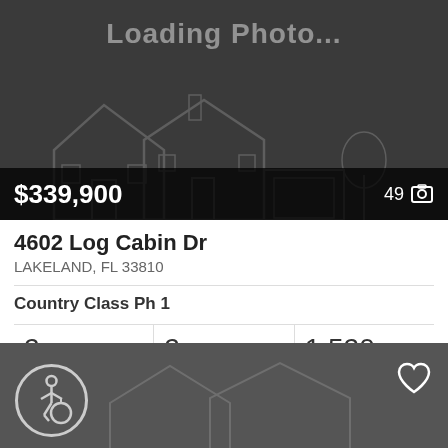[Figure (screenshot): Loading photo placeholder with dark background showing faint house outline and 'Loading Photo...' text]
$339,900
49 photos
4602 Log Cabin Dr
LAKELAND, FL 33810
Country Class Ph 1
2 Beds
2 Baths
1,520 Sq.Ft.
MLS #: L4932522
[Figure (screenshot): Bottom dark gray section with accessibility icon (wheelchair symbol in circle) on left and heart/favorite icon on right, with faint house outline in background]